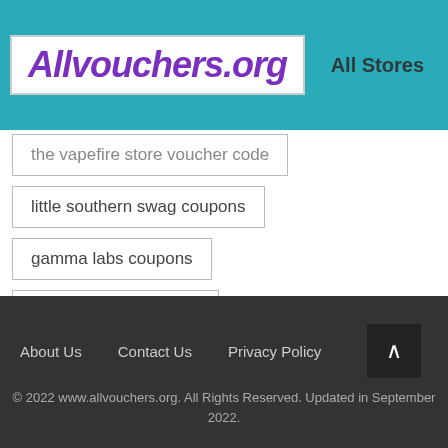Allvouchers.org | All Stores
the vapefire store voucher code
little southern swag coupons
gamma labs coupons
catered fit promo code
About Us   Contact Us   Privacy Policy   © 2022 www.allvouchers.org. All Rights Reserved. Updated in September 2022.